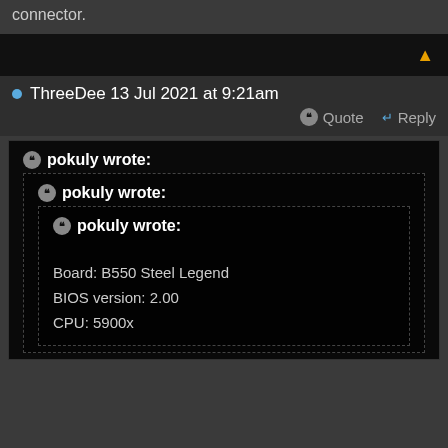connector.
ThreeDee 13 Jul 2021 at 9:21am
Quote  Reply
pokuly wrote:
pokuly wrote:
pokuly wrote:
Board: B550 Steel Legend
BIOS version: 2.00
CPU: 5900x